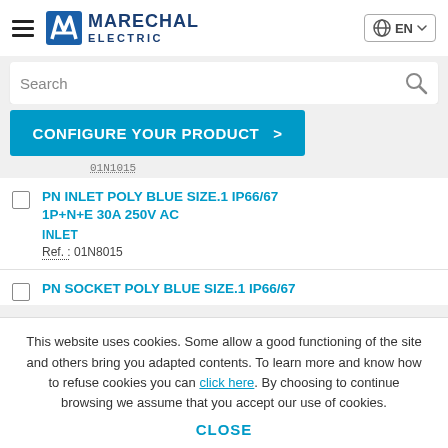[Figure (logo): Marechal Electric logo with hamburger menu and language selector]
Search
CONFIGURE YOUR PRODUCT  >
01N1015
PN INLET POLY BLUE SIZE.1 IP66/67 1P+N+E 30A 250V AC
INLET
Ref.: 01N8015
PN SOCKET POLY BLUE SIZE.1 IP66/67
This website uses cookies. Some allow a good functioning of the site and others bring you adapted contents. To learn more and know how to refuse cookies you can click here. By choosing to continue browsing we assume that you accept our use of cookies.
CLOSE